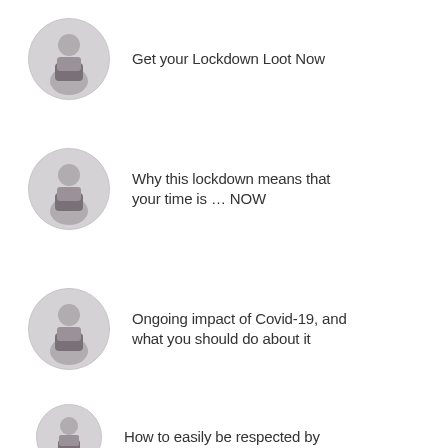Get your Lockdown Loot Now
Why this lockdown means that your time is … NOW
Ongoing impact of Covid-19, and what you should do about it
How to easily be respected by